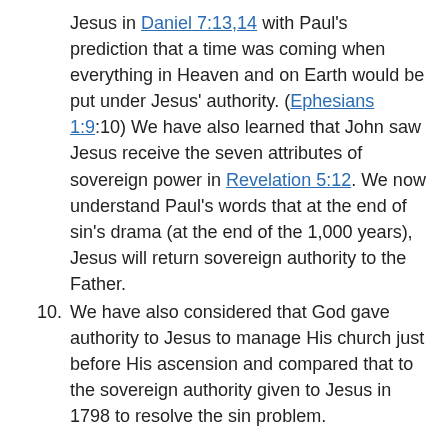Jesus in Daniel 7:13,14 with Paul's prediction that a time was coming when everything in Heaven and on Earth would be put under Jesus' authority. (Ephesians 1:9:10) We have also learned that John saw Jesus receive the seven attributes of sovereign power in Revelation 5:12. We now understand Paul's words that at the end of sin's drama (at the end of the 1,000 years), Jesus will return sovereign authority to the Father.
We have also considered that God gave authority to Jesus to manage His church just before His ascension and compared that to the sovereign authority given to Jesus in 1798 to resolve the sin problem.